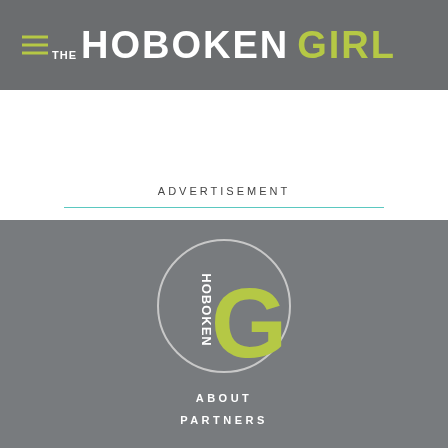THE HOBOKEN GIRL
ADVERTISEMENT
[Figure (logo): Hoboken Girl circular logo with a large lime green G and the word HOBOKEN written vertically in white]
ABOUT
PARTNERS